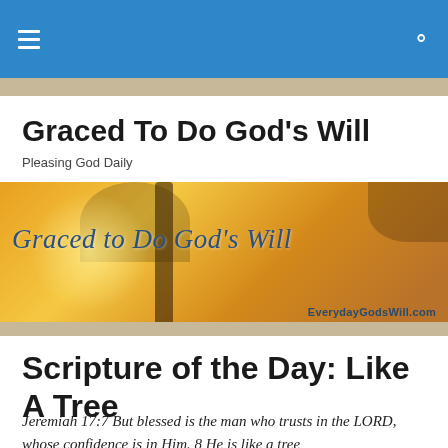Navigation bar with hamburger menu and search icon
Graced To Do God's Will
Pleasing God Daily
[Figure (illustration): Banner image showing a tree silhouette against a golden sunrise background with text 'Graced to Do God's Will' and 'EverydayGodsWill.com']
Scripture of the Day: Like A Tree
Jeremiah 17:7 But blessed is the man who trusts in the LORD, whose confidence is in Him. 8 He is like a tree